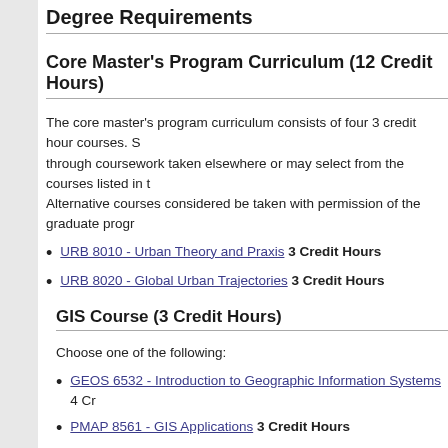Degree Requirements
Core Master's Program Curriculum (12 Credit Hours)
The core master's program curriculum consists of four 3 credit hour courses. Students may satisfy some of these requirements through coursework taken elsewhere or may select from the courses listed in the sections below. Alternative courses considered be taken with permission of the graduate program.
URB 8010 - Urban Theory and Praxis 3 Credit Hours
URB 8020 - Global Urban Trajectories 3 Credit Hours
GIS Course (3 Credit Hours)
Choose one of the following:
GEOS 6532 - Introduction to Geographic Information Systems 4 Credit Hours
PMAP 8561 - GIS Applications 3 Credit Hours
Methods (3 Credit Hours)
PMAP 8121 - Applied Research Methods and Statistics I 3 Credit Hours